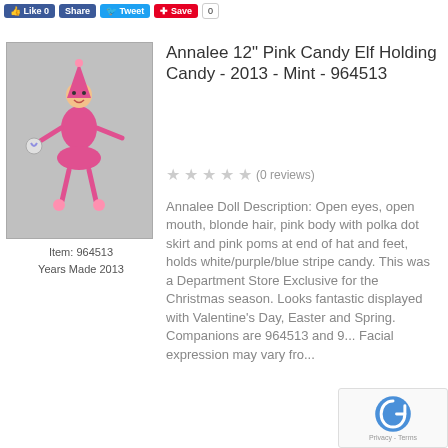[Figure (other): Social media buttons: Like 0, Share, Tweet, Save, 0]
[Figure (photo): Annalee 12 inch Pink Candy Elf doll in pink outfit with polka dot skirt holding striped candy]
Item: 964513
Years Made 2013
Annalee 12" Pink Candy Elf Holding Candy - 2013 - Mint - 964513
(0 reviews)
Annalee Doll Description: Open eyes, open mouth, blonde hair, pink body with polka dot skirt and pink poms at end of hat and feet, holds white/purple/blue stripe candy. This was a Department Store Exclusive for the Christmas season. Looks fantastic displayed with Valentine's Day, Easter and Spring. Companions are 964513 and 9... Facial expression may vary fro...